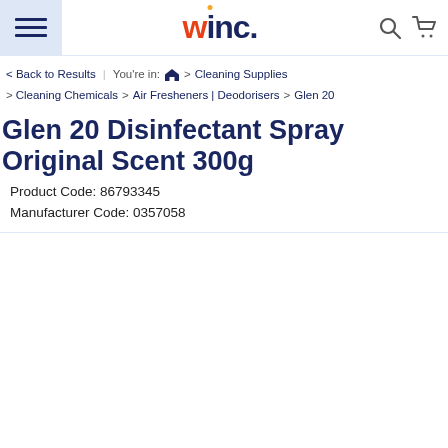winc. [navigation header with hamburger menu, logo, search icon, cart icon]
< Back to Results | You're in: [home] > Cleaning Supplies > Cleaning Chemicals > Air Fresheners | Deodorisers > Glen 20
Glen 20 Disinfectant Spray Original Scent 300g
Product Code: 86793345
Manufacturer Code: 0357058